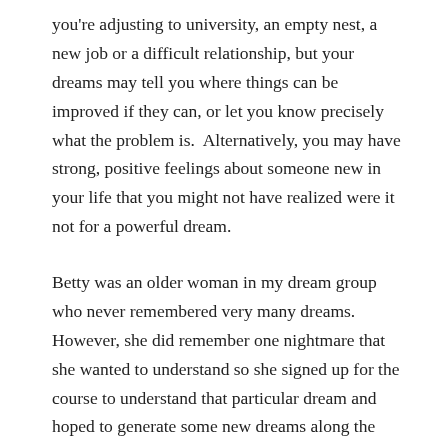you're adjusting to university, an empty nest, a new job or a difficult relationship, but your dreams may tell you where things can be improved if they can, or let you know precisely what the problem is.  Alternatively, you may have strong, positive feelings about someone new in your life that you might not have realized were it not for a powerful dream.
Betty was an older woman in my dream group who never remembered very many dreams. However, she did remember one nightmare that she wanted to understand so she signed up for the course to understand that particular dream and hoped to generate some new dreams along the way. She was disappointed when the ten-